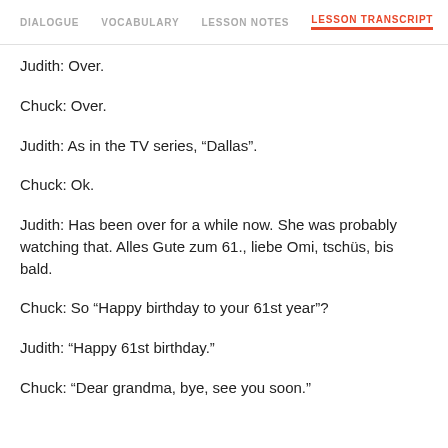DIALOGUE  VOCABULARY  LESSON NOTES  LESSON TRANSCRIPT  C
Judith: Over.
Chuck: Over.
Judith: As in the TV series, “Dallas”.
Chuck: Ok.
Judith: Has been over for a while now. She was probably watching that. Alles Gute zum 61., liebe Omi, tschüs, bis bald.
Chuck: So “Happy birthday to your 61st year”?
Judith: “Happy 61st birthday.”
Chuck: “Dear grandma, bye, see you soon.”